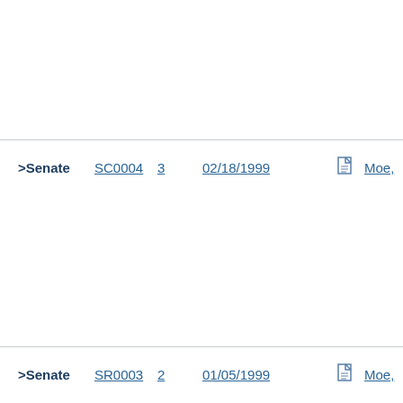| Chamber | ID | Num | Date | Doc | Author |
| --- | --- | --- | --- | --- | --- |
| >Senate | SC0004 | 3 | 02/18/1999 | [doc] | Moe, |
| >Senate | SR0003 | 2 | 01/05/1999 | [doc] | Moe, |